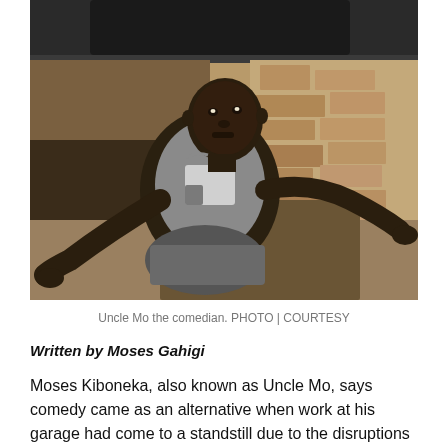[Figure (photo): A man (Uncle Mo the comedian) crouching under a vehicle in a garage or auto repair setting, wearing a grey vest over a white t-shirt, looking at the camera.]
Uncle Mo the comedian. PHOTO | COURTESY
Written by Moses Gahigi
Moses Kiboneka, also known as Uncle Mo, says comedy came as an alternative when work at his garage had come to a standstill due to the disruptions caused by Covid-19 last year. Little did he know that five months